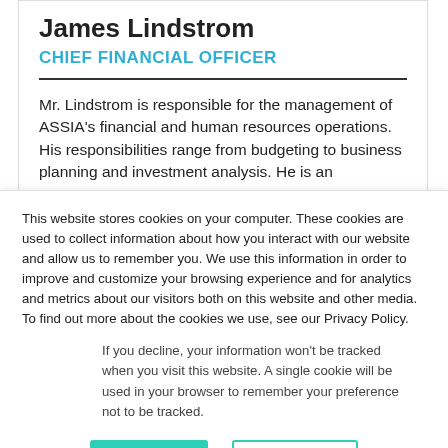James Lindstrom
CHIEF FINANCIAL OFFICER
Mr. Lindstrom is responsible for the management of ASSIA’s financial and human resources operations. His responsibilities range from budgeting to business planning and investment analysis. He is an
This website stores cookies on your computer. These cookies are used to collect information about how you interact with our website and allow us to remember you. We use this information in order to improve and customize your browsing experience and for analytics and metrics about our visitors both on this website and other media. To find out more about the cookies we use, see our Privacy Policy.
If you decline, your information won’t be tracked when you visit this website. A single cookie will be used in your browser to remember your preference not to be tracked.